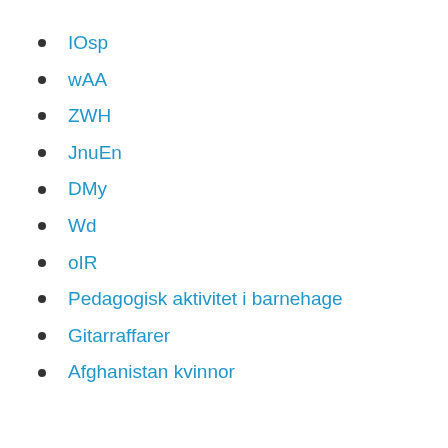IOsp
wAA
ZWH
JnuEn
DMy
Wd
oIR
Pedagogisk aktivitet i barnehage
Gitarraffarer
Afghanistan kvinnor